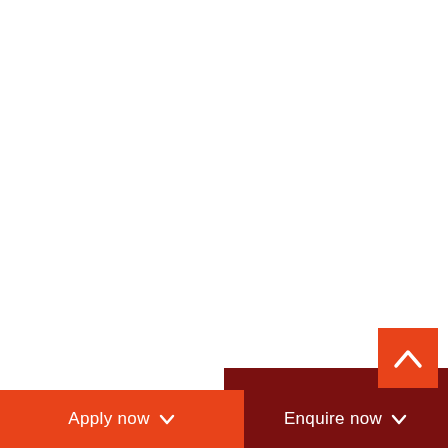[Figure (other): Scroll-to-top button with upward chevron arrow icon on orange-red background]
[Figure (other): Dark red decorative block in lower right portion of the page]
Apply now  Enquire now